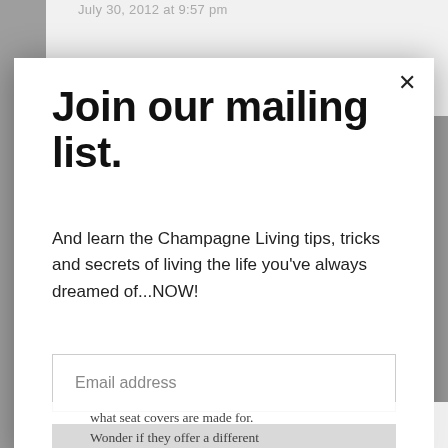July 30, 2012 at 9:57 pm
Join our mailing list.
And learn the Champagne Living tips, tricks and secrets of living the life you've always dreamed of...NOW!
Email address
Subscribe
what seat covers are made for.
Wonder if they offer a different